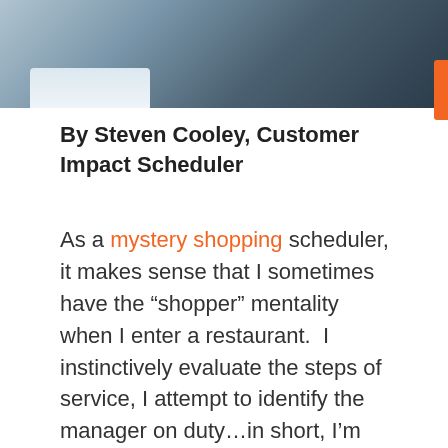[Figure (photo): Cropped photo showing a person in a white/light shirt against a dark background, only partial view visible at top of page]
By Steven Cooley, Customer Impact Scheduler
As a mystery shopping scheduler, it makes sense that I sometimes have the “shopper” mentality when I enter a restaurant.  I instinctively evaluate the steps of service, I attempt to identify the manager on duty…in short, I’m almost always mystery shopping.  I make an effort not to be